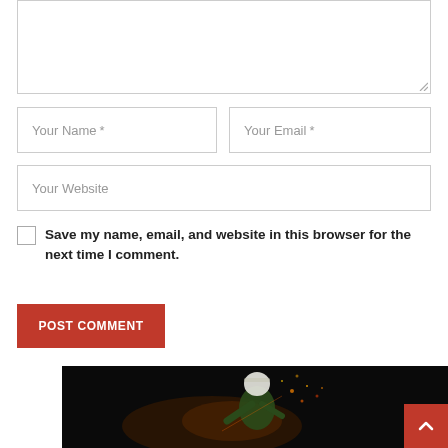[Figure (screenshot): Comment form textarea (top portion visible, partially cut off at top)]
Your Name *
Your Email *
Your Website
Save my name, email, and website in this browser for the next time I comment.
POST COMMENT
[Figure (photo): Dark background image with a cyclist in white helmet and green jersey with light flares/sparks effect]